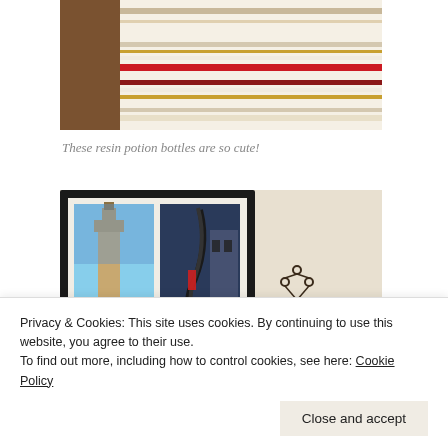[Figure (photo): Close-up photo of striped blanket or fabric with horizontal stripes in red, dark brown, yellow/gold, and white colors. A brown leather couch or chair edge is visible on the left.]
These resin potion bottles are so cute!
[Figure (photo): Framed artwork showing two Italian travel posters in a black frame. Left poster shows a tower (likely Torre del Mangia in Siena) with a blue sky. Right poster shows a Venetian gondola prow with the word VENEZIA. A decorative metal candelabra or rack is visible on the right.]
Privacy & Cookies: This site uses cookies. By continuing to use this website, you agree to their use.
To find out more, including how to control cookies, see here: Cookie Policy
Close and accept